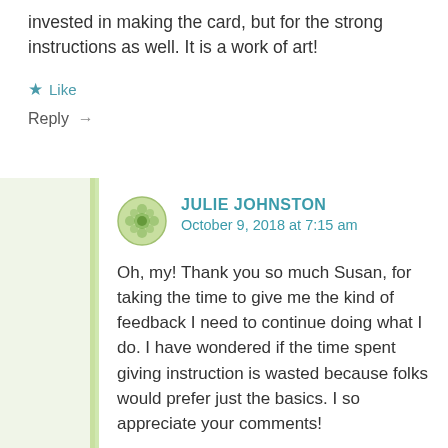invested in making the card, but for the strong instructions as well. It is a work of art!
★ Like
Reply →
JULIE JOHNSTON
October 9, 2018 at 7:15 am
Oh, my! Thank you so much Susan, for taking the time to give me the kind of feedback I need to continue doing what I do. I have wondered if the time spent giving instruction is wasted because folks would prefer just the basics. I so appreciate your comments!